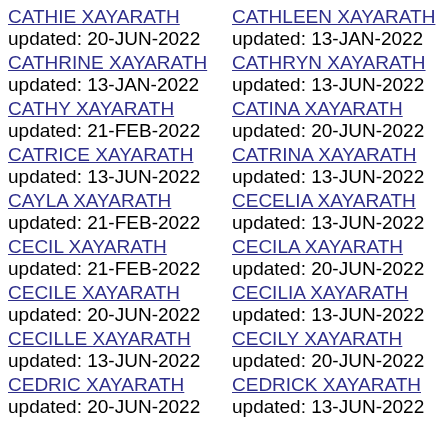CATHIE XAYARATH updated: 20-JUN-2022
CATHLEEN XAYARATH updated: 13-JAN-2022
CATHRINE XAYARATH updated: 13-JAN-2022
CATHRYN XAYARATH updated: 13-JUN-2022
CATHY XAYARATH updated: 21-FEB-2022
CATINA XAYARATH updated: 20-JUN-2022
CATRICE XAYARATH updated: 13-JUN-2022
CATRINA XAYARATH updated: 13-JUN-2022
CAYLA XAYARATH updated: 21-FEB-2022
CECELIA XAYARATH updated: 13-JUN-2022
CECIL XAYARATH updated: 21-FEB-2022
CECILA XAYARATH updated: 20-JUN-2022
CECILE XAYARATH updated: 20-JUN-2022
CECILIA XAYARATH updated: 13-JUN-2022
CECILLE XAYARATH updated: 13-JUN-2022
CECILY XAYARATH updated: 20-JUN-2022
CEDRIC XAYARATH updated: 20-JUN-2022
CEDRICK XAYARATH updated: 13-JUN-2022